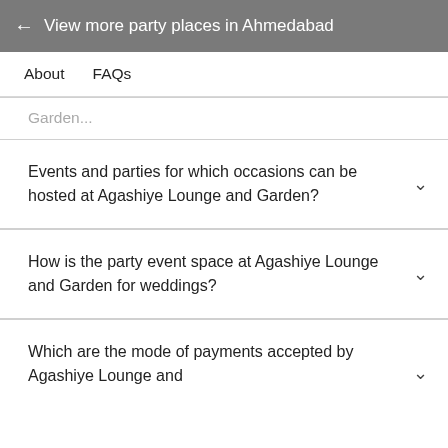← View more party places in Ahmedabad
About   FAQs
Garden...
Events and parties for which occasions can be hosted at Agashiye Lounge and Garden?
How is the party event space at Agashiye Lounge and Garden for weddings?
Which are the mode of payments accepted by Agashiye Lounge and